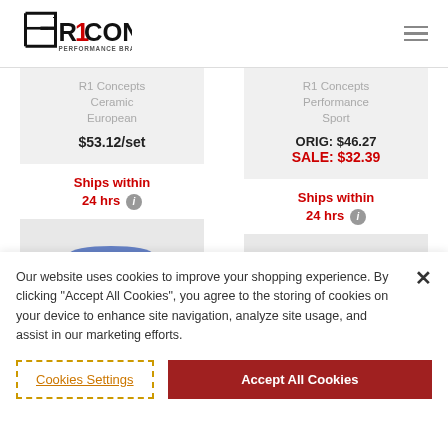[Figure (logo): R1 Concepts Performance Brake Parts logo with stylized arrow and R1 text in red and black]
R1 Concepts Ceramic European
$53.12/set
R1 Concepts Performance Sport
ORIG: $46.27
SALE: $32.39
Ships within 24 hrs
Ships within 24 hrs
Our website uses cookies to improve your shopping experience. By clicking "Accept All Cookies", you agree to the storing of cookies on your device to enhance site navigation, analyze site usage, and assist in our marketing efforts.
Cookies Settings
Accept All Cookies